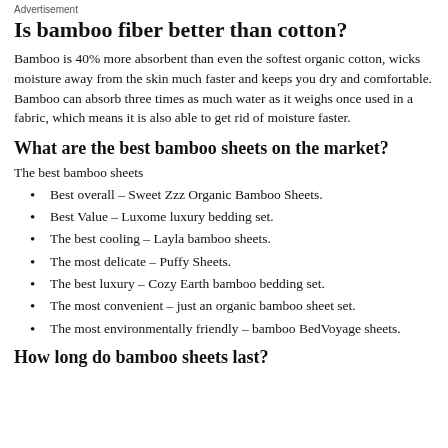Advertisement
Is bamboo fiber better than cotton?
Bamboo is 40% more absorbent than even the softest organic cotton, wicks moisture away from the skin much faster and keeps you dry and comfortable. Bamboo can absorb three times as much water as it weighs once used in a fabric, which means it is also able to get rid of moisture faster.
What are the best bamboo sheets on the market?
The best bamboo sheets
Best overall – Sweet Zzz Organic Bamboo Sheets.
Best Value – Luxome luxury bedding set.
The best cooling – Layla bamboo sheets.
The most delicate – Puffy Sheets.
The best luxury – Cozy Earth bamboo bedding set.
The most convenient – just an organic bamboo sheet set.
The most environmentally friendly – bamboo BedVoyage sheets.
How long do bamboo sheets last?